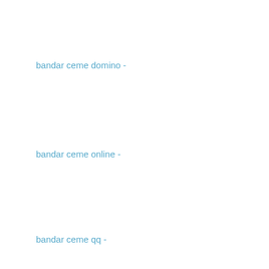bandar ceme domino -
bandar ceme online -
bandar ceme qq -
Dewa Poker -
Capsa Susun -
Ceme Keliling -
dominoqq -
Reply